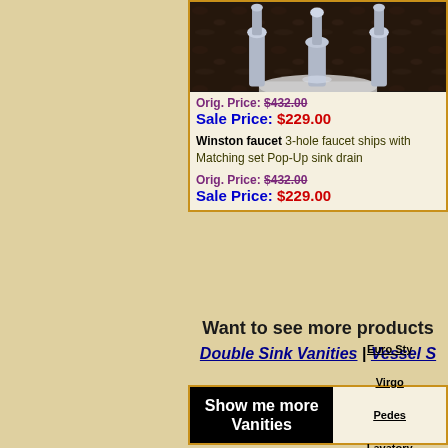[Figure (photo): Photo of a chrome bathroom faucet on dark granite countertop with white sink basin visible]
Orig. Price: $432.00
Sale Price: $229.00
Winston faucet 3-hole faucet ships with Matching set Pop-Up sink drain
Orig. Price: $432.00
Sale Price: $229.00
Want to see more products
Double Sink Vanities | Vessel S
Show me more Vanities
Euro Sty
Virgo 
Pedes
Lavatory
Vessel Si